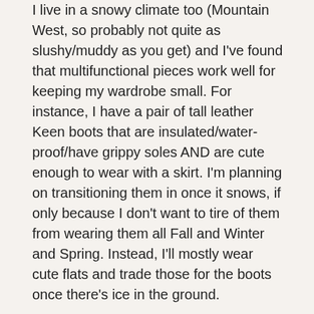I live in a snowy climate too (Mountain West, so probably not quite as slushy/muddy as you get) and I've found that multifunctional pieces work well for keeping my wardrobe small. For instance, I have a pair of tall leather Keen boots that are insulated/water-proof/have grippy soles AND are cute enough to wear with a skirt. I'm planning on transitioning them in once it snows, if only because I don't want to tire of them from wearing them all Fall and Winter and Spring. Instead, I'll mostly wear cute flats and trade those for the boots once there's ice in the ground.
I'm also planning on buying a couple layering shirts to wear under tops (vs adding a cardigan to layer over the tops = double the options). And I don't think undershirts count in the capsule wardrobe. Like these: